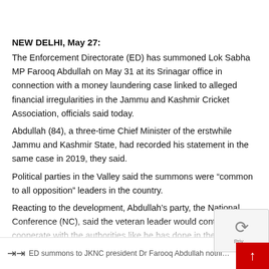NEW DELHI, May 27:
The Enforcement Directorate (ED) has summoned Lok Sabha MP Farooq Abdullah on May 31 at its Srinagar office in connection with a money laundering case linked to alleged financial irregularities in the Jammu and Kashmir Cricket Association, officials said today.
Abdullah (84), a three-time Chief Minister of the erstwhile Jammu and Kashmir State, had recorded his statement in the same case in 2019, they said.
Political parties in the Valley said the summons were “common to all opposition” leaders in the country.
Reacting to the development, Abdullah’s party, the National Conference (NC), said the veteran leader would continue to cooperate with the authorities like he has done in the past.
ED summons to JKNC president Dr Farooq Abdullah noth...